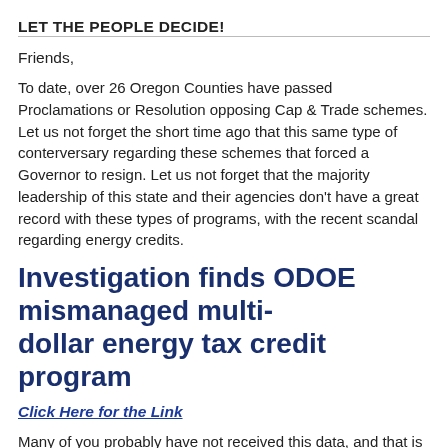LET THE PEOPLE DECIDE!
Friends,
To date, over 26 Oregon Counties have passed Proclamations or Res... Cap & Trade schemes. Let us not forget the short time ago that this s... conterversary regarding these schemes that forced a Governor to res... forget that the majority leadership of this state and their agencies don... record with these types of programs, with the recent scandal regardin...
Investigation finds ODOE mismanag... dollar energy tax credit program
Click Here for the Link
Many of you probably have not received this data, and that is unfortun... Climate Action Program's Statement of Purpose included, “To provide... households, businesses and workers impacted by the transition in... economic system that allows for the State of Oregon to achieve the... reduction goals set forth in ORS 468A.205.”